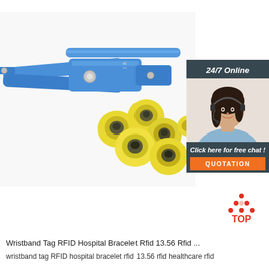[Figure (photo): Blue handheld RFID ear tag applicator tool (plier-type) with several yellow circular RFID ear tags with dark centers arranged in front, on a white background.]
[Figure (infographic): Chat widget banner: dark grey background, '24/7 Online' header in italic white, photo of a smiling woman with headset (customer service agent), 'Click here for free chat !' text in italic white, orange QUOTATION button.]
[Figure (logo): TOP logo: red triangle/pyramid shape made of dots with 'TOP' text in red below.]
Wristband Tag RFID Hospital Bracelet Rfid 13.56 Rfid ...
wristband tag RFID hospital bracelet rfid 13.56 rfid healthcare rfid